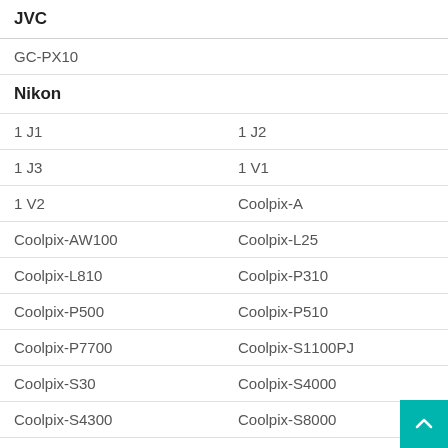| JVC |  |
| GC-PX10 |  |
| Nikon |  |
| 1 J1 | 1 J2 |
| 1 J3 | 1 V1 |
| 1 V2 | Coolpix-A |
| Coolpix-AW100 | Coolpix-L25 |
| Coolpix-L810 | Coolpix-P310 |
| Coolpix-P500 | Coolpix-P510 |
| Coolpix-P7700 | Coolpix-S1100PJ |
| Coolpix-S30 | Coolpix-S4000 |
| Coolpix-S4300 | Coolpix-S8000 |
| Coolpix-S8200 | Coolpix-S9100 |
| Coolpix-S9200 | Coolpix-S9300 |
| D300s | D3100 |
| D3200 | D5100 |